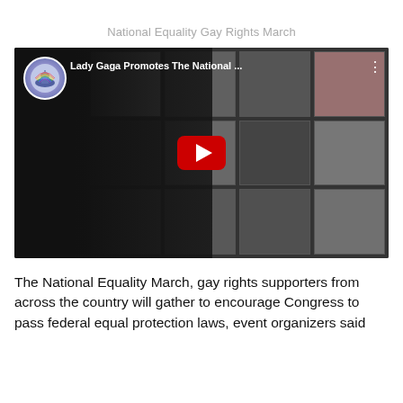National Equality Gay Rights March
[Figure (screenshot): YouTube video thumbnail showing Lady Gaga promoting The National Equality Gay Rights March. A woman is visible against a background wall of framed photos. A red YouTube play button is centered on the video. The video title reads 'Lady Gaga Promotes The National ...' with a channel icon in the upper left and a three-dot menu in the upper right.]
The National Equality March, gay rights supporters from across the country will gather to encourage Congress to pass federal equal protection laws, event organizers said